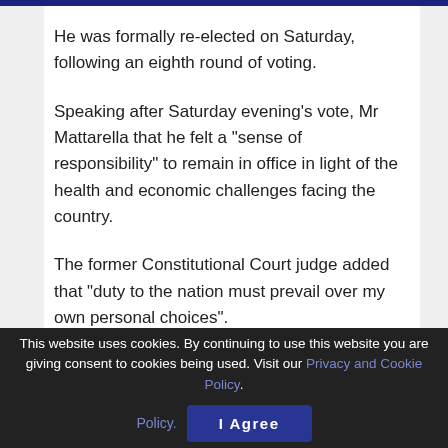He was formally re-elected on Saturday, following an eighth round of voting.
Speaking after Saturday evening's vote, Mr Mattarella that he felt a "sense of responsibility" to remain in office in light of the health and economic challenges facing the country.
The former Constitutional Court judge added that "duty to the nation must prevail over my own personal choices".
Mr Draghi hailed Mr Mattarella's re-election, calling it "splendid news for Italians".
This website uses cookies. By continuing to use this website you are giving consent to cookies being used. Visit our Privacy and Cookie Policy.